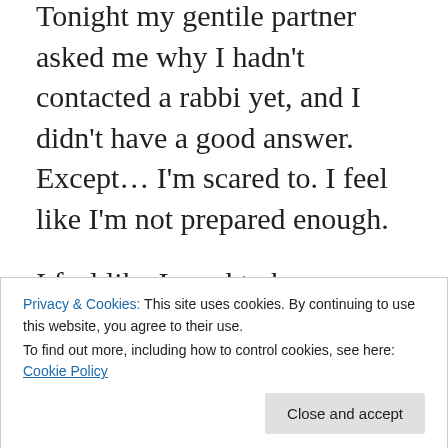Tonight my gentile partner asked me why I hadn't contacted a rabbi yet, and I didn't have a good answer. Except… I'm scared to. I feel like I'm not prepared enough.
I feel like I need to have already Read All The Books, and been to services a few (dozen) times, and have all the prayers memorized, and have read at least one full tractate in the original Aramaic, and be able to read Hebrew fluently so I don't come across like a poseur or a fake. It's just that old presumption hangover coming back to bite me. I know that.
Privacy & Cookies: This site uses cookies. By continuing to use this website, you agree to their use. To find out more, including how to control cookies, see here: Cookie Policy
… except I don't. Not always.